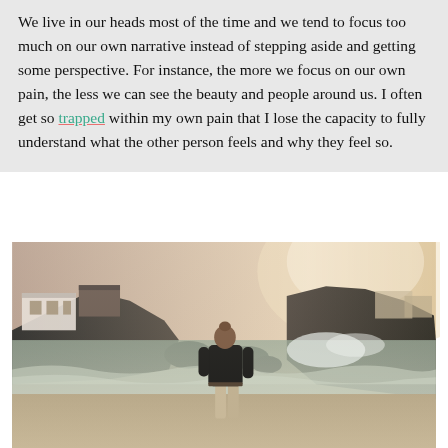We live in our heads most of the time and we tend to focus too much on our own narrative instead of stepping aside and getting some perspective. For instance, the more we focus on our own pain, the less we can see the beauty and people around us. I often get so trapped within my own pain that I lose the capacity to fully understand what the other person feels and why they feel so.
[Figure (photo): A person seen from behind, wearing a black long-sleeve top and light pants, standing on a beach with waves, rocky cliffs, and buildings in the hazy background.]